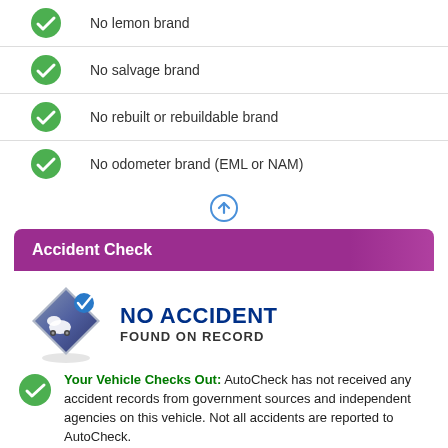No lemon brand
No salvage brand
No rebuilt or rebuildable brand
No odometer brand (EML or NAM)
Accident Check
[Figure (logo): Diamond-shaped AutoCheck logo with car and checkmark, next to text NO ACCIDENT FOUND ON RECORD]
Your Vehicle Checks Out: AutoCheck has not received any accident records from government sources and independent agencies on this vehicle. Not all accidents are reported to AutoCheck.